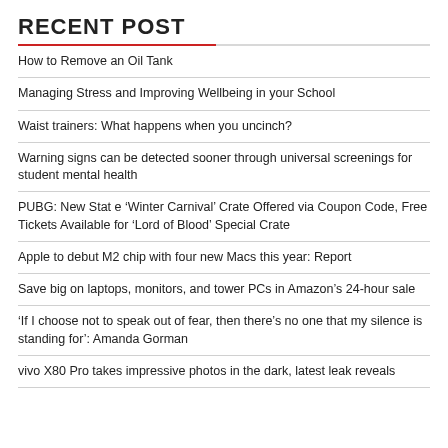RECENT POST
How to Remove an Oil Tank
Managing Stress and Improving Wellbeing in your School
Waist trainers: What happens when you uncinch?
Warning signs can be detected sooner through universal screenings for student mental health
PUBG: New Stat e ‘Winter Carnival’ Crate Offered via Coupon Code, Free Tickets Available for ‘Lord of Blood’ Special Crate
Apple to debut M2 chip with four new Macs this year: Report
Save big on laptops, monitors, and tower PCs in Amazon’s 24-hour sale
‘If I choose not to speak out of fear, then there’s no one that my silence is standing for’: Amanda Gorman
vivo X80 Pro takes impressive photos in the dark, latest leak reveals